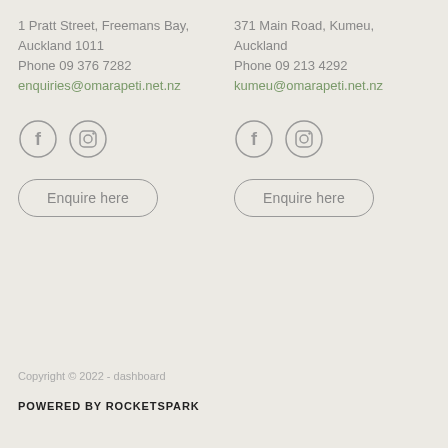1 Pratt Street, Freemans Bay, Auckland 1011
Phone 09 376 7282
enquiries@omarapeti.net.nz
[Figure (illustration): Facebook and Instagram social media icons (circles with f and camera icons) for Freemans Bay location]
Enquire here
371 Main Road, Kumeu, Auckland
Phone 09 213 4292
kumeu@omarapeti.net.nz
[Figure (illustration): Facebook and Instagram social media icons (circles with f and camera icons) for Kumeu location]
Enquire here
Copyright © 2022 - dashboard
POWERED BY ROCKETSPARK